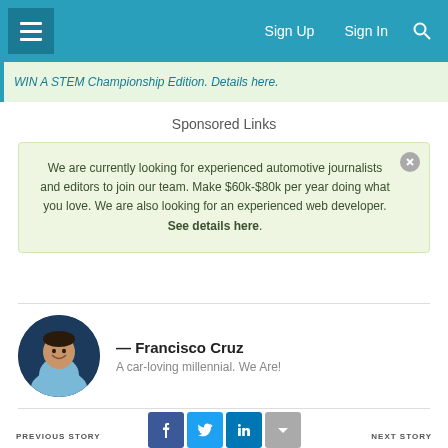≡  Sign Up  Sign In  🔍
WIN A STEM Championship Edition. Details here.
Sponsored Links
We are currently looking for experienced automotive journalists and editors to join our team. Make $60k-$80k per year doing what you love. We are also looking for an experienced web developer. See details here.
[Figure (photo): Circular headshot of Francisco Cruz, a man smiling with arms crossed, wearing a light blue shirt]
— Francisco Cruz
A car-loving millennial. We Are!
PREVIOUS STORY   [Facebook] [Twitter] [LinkedIn] [More]   NEXT STORY